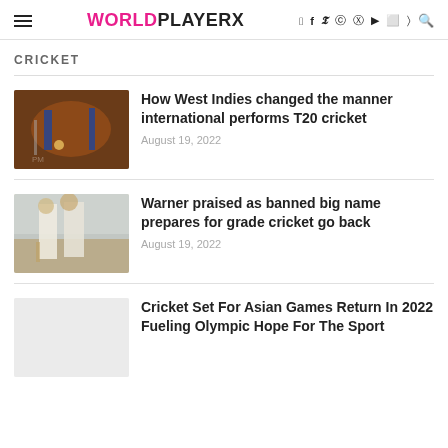WORLDPLAYERX
CRICKET
[Figure (photo): Cricket match action photo showing players batting and fielding with orange and pink team colors]
How West Indies changed the manner international performs T20 cricket
August 19, 2022
[Figure (photo): Two Australian cricket players in white uniforms standing on a cricket ground]
Warner praised as banned big name prepares for grade cricket go back
August 19, 2022
[Figure (photo): Placeholder image for cricket article about Asian Games]
Cricket Set For Asian Games Return In 2022 Fueling Olympic Hope For The Sport